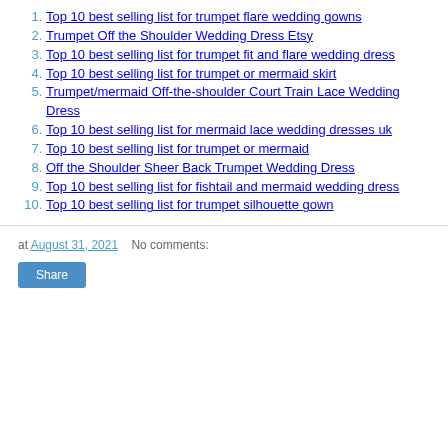Top 10 best selling list for trumpet flare wedding gowns
Trumpet Off the Shoulder Wedding Dress Etsy
Top 10 best selling list for trumpet fit and flare wedding dress
Top 10 best selling list for trumpet or mermaid skirt
Trumpet/mermaid Off-the-shoulder Court Train Lace Wedding Dress
Top 10 best selling list for mermaid lace wedding dresses uk
Top 10 best selling list for trumpet or mermaid
Off the Shoulder Sheer Back Trumpet Wedding Dress
Top 10 best selling list for fishtail and mermaid wedding dress
Top 10 best selling list for trumpet silhouette gown
at August 31, 2021    No comments:
Share